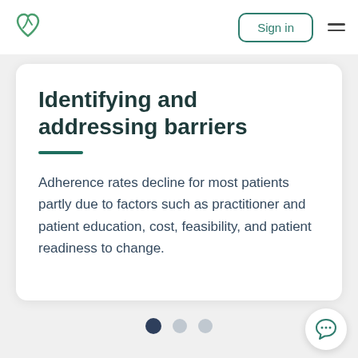[Figure (logo): Green leaf/heart logo icon]
Sign in
Identifying and addressing barriers
Adherence rates decline for most patients partly due to factors such as practitioner and patient education, cost, feasibility, and patient readiness to change.